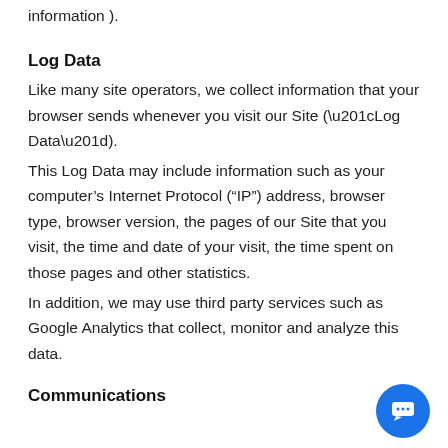information ).
Log Data
Like many site operators, we collect information that your browser sends whenever you visit our Site (“Log Data”).
This Log Data may include information such as your computer’s Internet Protocol (“IP”) address, browser type, browser version, the pages of our Site that you visit, the time and date of your visit, the time spent on those pages and other statistics.
In addition, we may use third party services such as Google Analytics that collect, monitor and analyze this data.
Communications